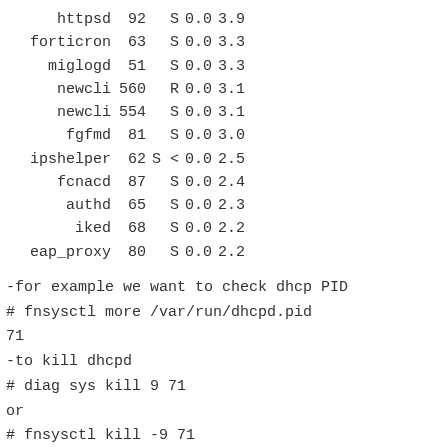| process | pid | state | cpu | mem |
| --- | --- | --- | --- | --- |
| httpsd | 92 | S | 0.0 | 3.9 |
| forticron | 63 | S | 0.0 | 3.3 |
| miglogd | 51 | S | 0.0 | 3.3 |
| newcli | 560 | R | 0.0 | 3.1 |
| newcli | 554 | S | 0.0 | 3.1 |
| fgfmd | 81 | S | 0.0 | 3.0 |
| ipshelper | 62 | S < | 0.0 | 2.5 |
| fcnacd | 87 | S | 0.0 | 2.4 |
| authd | 65 | S | 0.0 | 2.3 |
| iked | 68 | S | 0.0 | 2.2 |
| eap_proxy | 80 | S | 0.0 | 2.2 |
-for example we want to check dhcp PID
# fnsysctl more /var/run/dhcpd.pid
71
-to kill dhcpd
# diag sys kill 9 71
or
# fnsysctl kill -9 71